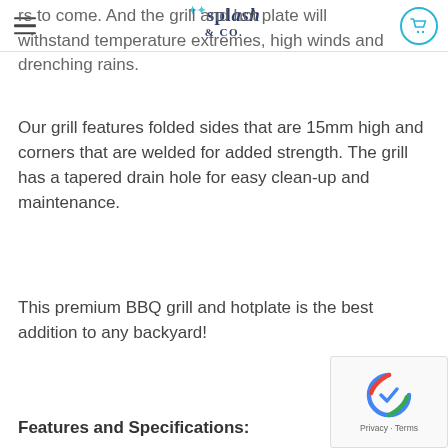Splash & Co. — navigation header with logo and cart icon
rs to come. And the grill and hot plate will withstand temperature extremes, high winds and drenching rains.
Our grill features folded sides that are 15mm high and corners that are welded for added strength. The grill has a tapered drain hole for easy clean-up and maintenance.
This premium BBQ grill and hotplate is the best addition to any backyard!
Features and Specifications: